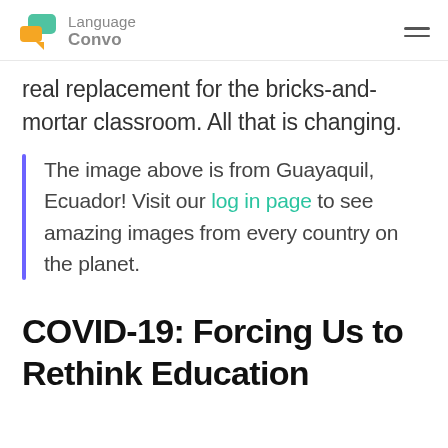Language Convo
real replacement for the bricks-and-mortar classroom. All that is changing.
The image above is from Guayaquil, Ecuador! Visit our log in page to see amazing images from every country on the planet.
COVID-19: Forcing Us to Rethink Education